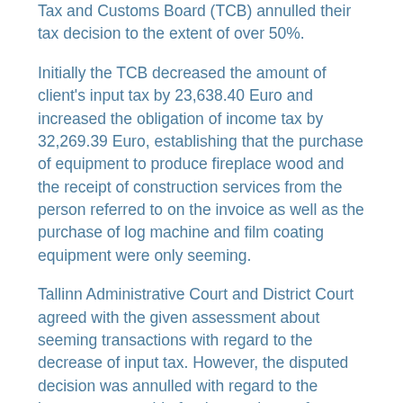Tax and Customs Board (TCB) annulled their tax decision to the extent of over 50%.
Initially the TCB decreased the amount of client's input tax by 23,638.40 Euro and increased the obligation of income tax by 32,269.39 Euro, establishing that the purchase of equipment to produce fireplace wood and the receipt of construction services from the person referred to on the invoice as well as the purchase of log machine and film coating equipment were only seeming.
Tallinn Administrative Court and District Court agreed with the given assessment about seeming transactions with regard to the decrease of input tax. However, the disputed decision was annulled with regard to the income tax payable for the purchase of equipment to produce fireplace wood.
The decision of the Estonian Supreme Court dated